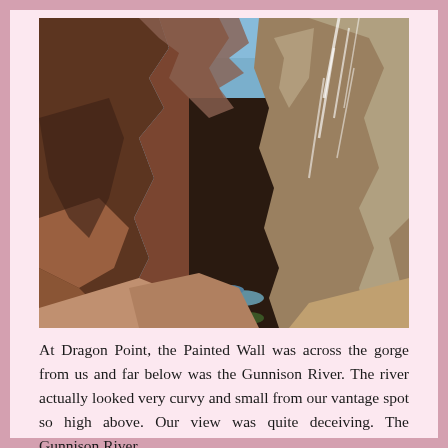[Figure (photo): A dramatic view of the Black Canyon of the Gunnison from Dragon Point. The Painted Wall, a massive sheer cliff face with white pegmatite streaks, rises on the right side. The deep gorge drops steeply to reveal the Gunnison River far below, appearing small and winding. Rocky canyon walls in dark brown and grey tones frame both sides, with sparse green vegetation at the bottom. Blue sky is visible at the top.]
At Dragon Point, the Painted Wall was across the gorge from us and far below was the Gunnison River. The river actually looked very curvy and small from our vantage spot so high above. Our view was quite deceiving. The Gunnison River